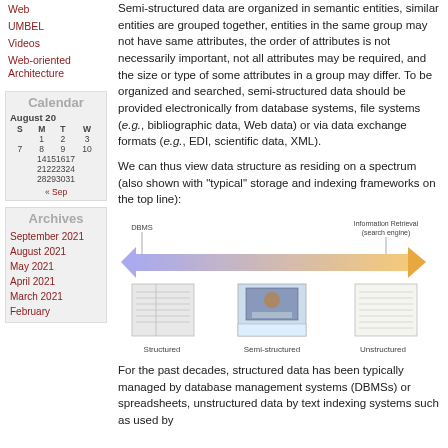Web
UMBEL
Videos
Web-oriented Architecture
| S | M | T | W |
| --- | --- | --- | --- |
|  | 1 | 2 | 3 |
| 7 | 8 | 9 | 10 |
| 14 | 15 | 16 | 17 |
| 21 | 22 | 23 | 24 |
| 28 | 29 | 30 | 31 |
| Archives |
| --- |
| September 2021 |
| August 2021 |
| May 2021 |
| April 2021 |
| March 2021 |
| February |
Semi-structured data are organized in semantic entities, similar entities are grouped together, entities in the same group may not have same attributes, the order of attributes is not necessarily important, not all attributes may be required, and the size or type of some attributes in a group may differ. To be organized and searched, semi-structured data should be provided electronically from database systems, file systems (e.g., bibliographic data, Web data) or via data exchange formats (e.g., EDI, scientific data, XML).
We can thus view data structure as residing on a spectrum (also shown with “typical” storage and indexing frameworks on the top line):
[Figure (infographic): A spectrum diagram showing data structure types from DBMS (left, structured) to Information Retrieval/search engine (right, unstructured), with a double-headed arrow and three images: Structured (table/spreadsheet), Semi-structured (web page with photo), and Unstructured (text document).]
For the past decades, structured data has been typically managed by database management systems (DBMSs) or spreadsheets, unstructured data by text indexing systems such as used by